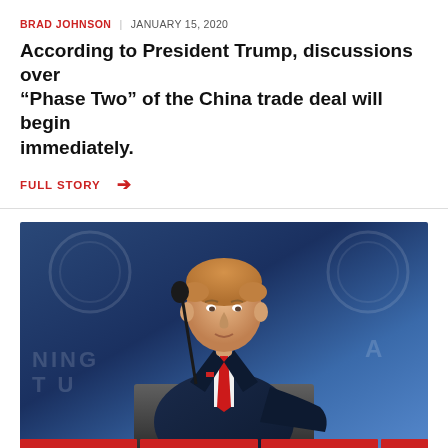BRAD JOHNSON | JANUARY 15, 2020
According to President Trump, discussions over “Phase Two” of the China trade deal will begin immediately.
FULL STORY →
[Figure (photo): President Trump standing at a podium with the Presidential seal, wearing a navy suit and red tie, with a microphone in front of him and a blue backdrop behind him.]